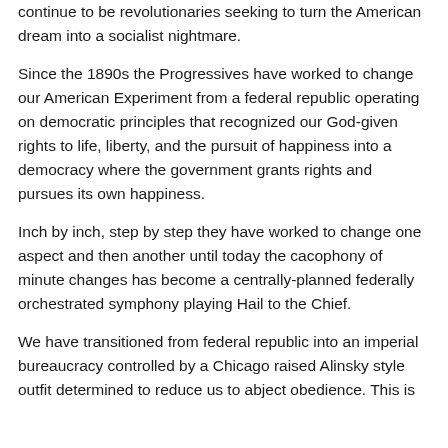continue to be revolutionaries seeking to turn the American dream into a socialist nightmare.
Since the 1890s the Progressives have worked to change our American Experiment from a federal republic operating on democratic principles that recognized our God-given rights to life, liberty, and the pursuit of happiness into a democracy where the government grants rights and pursues its own happiness.
Inch by inch, step by step they have worked to change one aspect and then another until today the cacophony of minute changes has become a centrally-planned federally orchestrated symphony playing Hail to the Chief.
We have transitioned from federal republic into an imperial bureaucracy controlled by a Chicago raised Alinsky style outfit determined to reduce us to abject obedience. This is